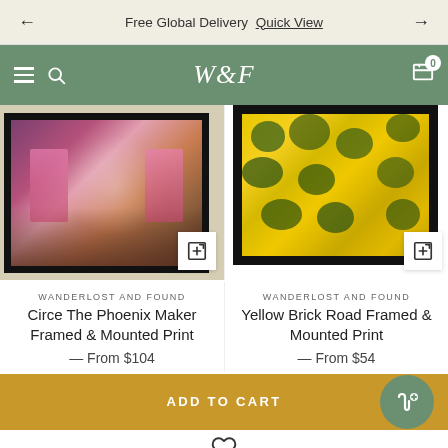Free Global Delivery  Quick View
W&F
[Figure (photo): Circe The Phoenix Maker framed art print showing a fantasy magical scene with pink florals and figures]
[Figure (photo): Yellow Brick Road framed art print showing a close-up field of yellow sunflowers/chrysanthemums]
WANDERLOST AND FOUND
Circe The Phoenix Maker Framed & Mounted Print
— From $104
WANDERLOST AND FOUND
Yellow Brick Road Framed & Mounted Print
— From $54
ADD TO CART